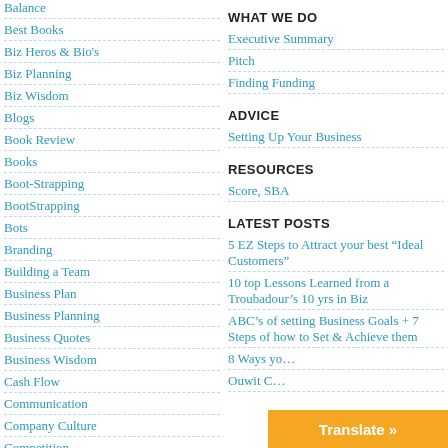Balance
Best Books
Biz Heros & Bio's
Biz Planning
Biz Wisdom
Blogs
Book Review
Books
Boot-Strapping
BootStrapping
Bots
Branding
Building a Team
Business Plan
Business Planning
Business Quotes
Business Wisdom
Cash Flow
Communication
Company Culture
Competition
Core Values
Creative
CRM
WHAT WE DO
Executive Summary
Pitch
Finding Funding
ADVICE
Setting Up Your Business
RESOURCES
Score, SBA
LATEST POSTS
5 EZ Steps to Attract your best “Ideal Customers”
10 top Lessons Learned from a Troubadour’s 10 yrs in Biz
ABC’s of setting Business Goals + 7 Steps of how to Set & Achieve them
8 Ways yo...
Translate »